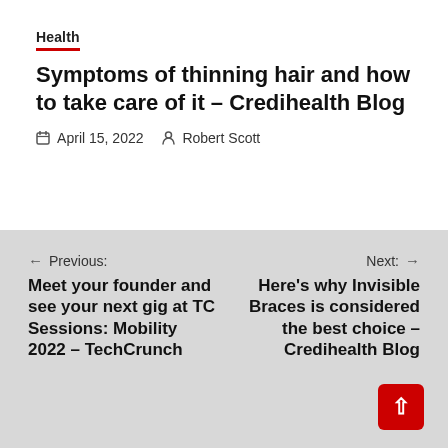Health
Symptoms of thinning hair and how to take care of it – Credihealth Blog
April 15, 2022   Robert Scott
← Previous: Meet your founder and see your next gig at TC Sessions: Mobility 2022 – TechCrunch
Next: → Here's why Invisible Braces is considered the best choice – Credihealth Blog